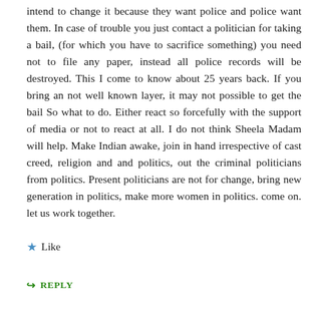intend to change it because they want police and police want them. In case of trouble you just contact a politician for taking a bail, (for which you have to sacrifice something) you need not to file any paper, instead all police records will be destroyed. This I come to know about 25 years back. If you bring an not well known layer, it may not possible to get the bail So what to do. Either react so forcefully with the support of media or not to react at all. I do not think Sheela Madam will help. Make Indian awake, join in hand irrespective of cast creed, religion and and politics, out the criminal politicians from politics. Present politicians are not for change, bring new generation in politics, make more women in politics. come on. let us work together.
★ Like
↳ REPLY